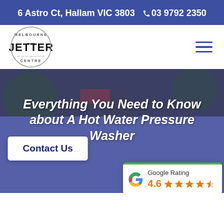6 Astro Ct, Hallam VIC 3803   📞 03 9792 2350
[Figure (logo): Melbourne Jetter Centre circular logo with text MELBOURNE, JETTER, CENTRE]
Everything You Need to Know about A Hot Water Pressure Washer
Contact Us
[Figure (infographic): Google Rating widget showing 4.6 stars with green top border]